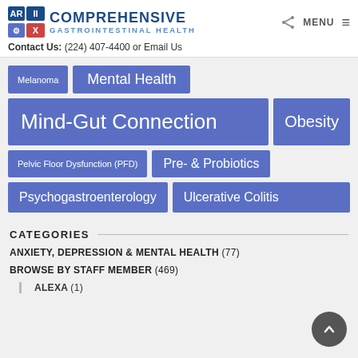COMPREHENSIVE GASTROINTESTINAL HEALTH | Contact Us: (224) 407-4400 or Email Us
[Figure (infographic): Tag cloud with medical topic tags: Melanoma, Mental Health, Mind-Gut Connection, Obesity, Pelvic Floor Dysfunction (PFD), Pre- & Probiotics, Psychogastroenterology, Ulcerative Colitis]
CATEGORIES
ANXIETY, DEPRESSION & MENTAL HEALTH (77)
BROWSE BY STAFF MEMBER (469)
ALEXA (1)